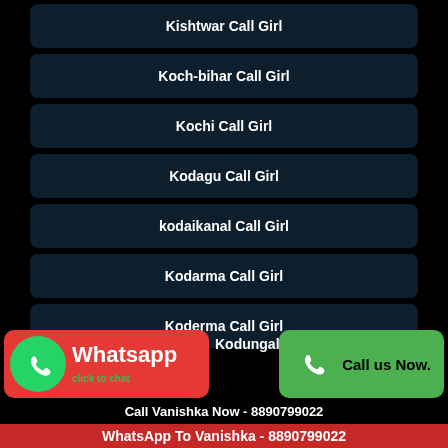Kishtwar Call Girl
Koch-bihar Call Girl
Kochi Call Girl
Kodagu Call Girl
kodaikanal Call Girl
Kodarma Call Girl
Koderma Call Girl
Kodungallur Call Girl
Whatsapp click to chat
Call us Now.
Call Vanishka Now - 8890799022
WhatsApp To Vanishka - 8890799022